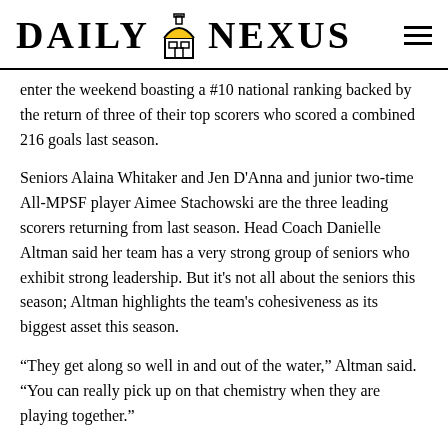DAILY NEXUS
enter the weekend boasting a #10 national ranking backed by the return of three of their top scorers who scored a combined 216 goals last season.
Seniors Alaina Whitaker and Jen D'Anna and junior two-time All-MPSF player Aimee Stachowski are the three leading scorers returning from last season. Head Coach Danielle Altman said her team has a very strong group of seniors who exhibit strong leadership. But it's not all about the seniors this season; Altman highlights the team's cohesiveness as its biggest asset this season.
“They get along so well in and out of the water,” Altman said. “You can really pick up on that chemistry when they are playing together.”